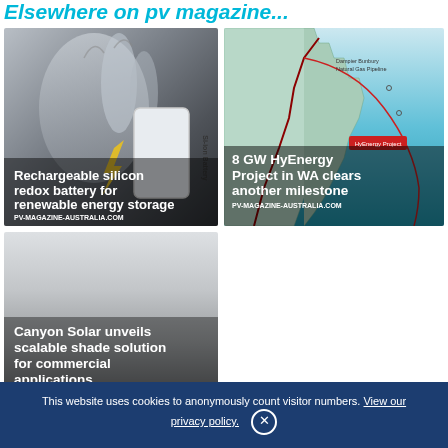Elsewhere on pv magazine...
[Figure (photo): Silicon battery illustration - hand holding a Si-ion Battery device]
Rechargeable silicon redox battery for renewable energy storage
PV-MAGAZINE-AUSTRALIA.COM
[Figure (map): Map showing HyEnergy Project in Western Australia with Dampier Bunbury Natural Gas Pipeline and red route lines marked]
8 GW HyEnergy Project in WA clears another milestone
PV-MAGAZINE-AUSTRALIA.COM
[Figure (photo): Gray gradient background image for Canyon Solar article]
Canyon Solar unveils scalable shade solution for commercial applications
This website uses cookies to anonymously count visitor numbers. View our privacy policy.